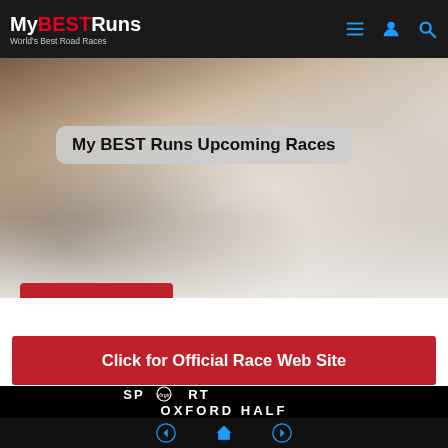MyBESTRuns — World's Best Road Races
[Figure (photo): Hero image of marathon runners with scattered paper cups on road]
My BEST Runs Upcoming Races
Click To Register
Click for Official Race Web Site
[Figure (logo): Virgin Sport Oxford Half logo on black background — large white text 'SPORT' with Virgin logo incorporated as the O, and 'OXFORD HALF' below with stylized letters]
Navigation: previous, home, next